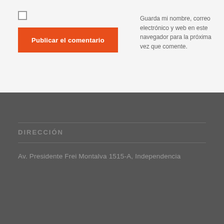Guarda mi nombre, correo electrónico y web en este navegador para la próxima vez que comente.
Publicar el comentario
DIRECCIÓN
Av. Presidente Frei Montalva 1515-A, Independencia